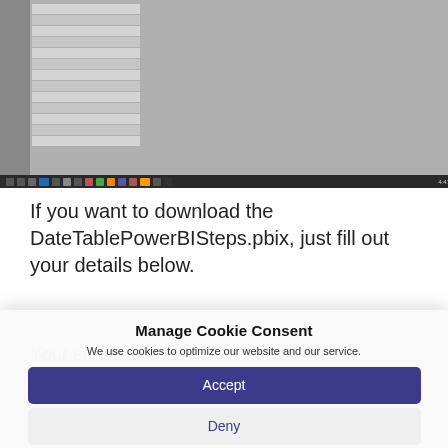[Figure (screenshot): Screenshot of a Windows desktop showing a Power BI table with date data and taskbar at the bottom]
If you want to download the DateTablePowerBISteps.pbix, just fill out your details below.
Y...
Manage Cookie Consent
We use cookies to optimize our website and our service.
Accept
Deny